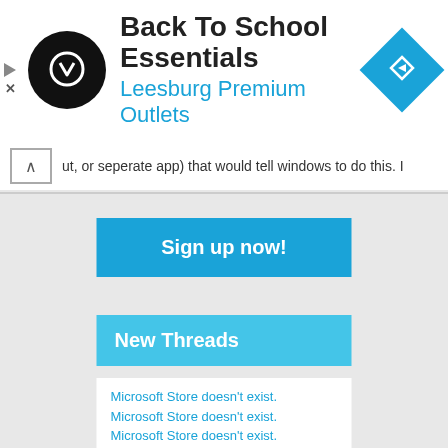[Figure (logo): Back To School Essentials ad banner with circular black logo, title text, subtitle 'Leesburg Premium Outlets' in blue, and blue diamond directions icon]
ut, or seperate app) that would tell windows to do this. I
[Figure (screenshot): Sign up now! button in blue]
New Threads
Microsoft Store doesn't exist.
Microsoft Store doesn't exist.
Microsoft Store doesn't exist.
Windows is not showing the explorer files
How do upgrade my windows 10